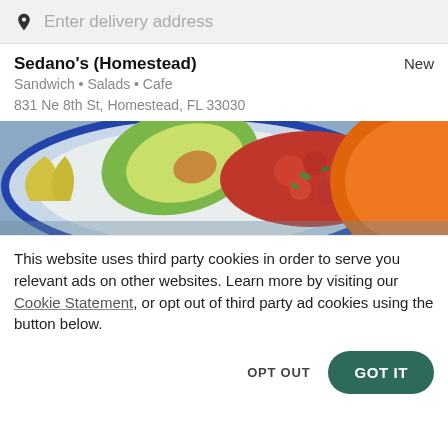Enter delivery address
Sedano's (Homestead)
New
Sandwich • Salads • Cafe
831 Ne 8th St, Homestead, FL 33030
[Figure (photo): Food photo showing a plate with avocado slices and tomato salsa on a decorative blue and white plate, with an orange plate visible in the background.]
This website uses third party cookies in order to serve you relevant ads on other websites. Learn more by visiting our Cookie Statement, or opt out of third party ad cookies using the button below.
OPT OUT
GOT IT